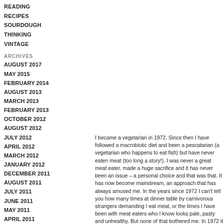READING
RECIPES
SOURDOUGH
THINKING
VINTAGE
ARCHIVES
AUGUST 2017
MAY 2015
FEBRUARY 2014
AUGUST 2013
MARCH 2013
FEBRUARY 2013
OCTOBER 2012
AUGUST 2012
JULY 2012
APRIL 2012
MARCH 2012
JANUARY 2012
DECEMBER 2011
AUGUST 2011
JULY 2011
JUNE 2011
MAY 2011
APRIL 2011
MARCH 2011
FEBRUARY 2011
JANUARY 2011
DECEMBER 2010
NOVEMBER 2010
OCTOBER 2010
I became a vegetarian in 1972. Since then I have followed a macrobiotic diet and been a pescatarian (a vegetarian who happens to eat fish) but have never eaten meat (too long a story!). I was never a great meat eater, made a huge sacrifice and it has never been an issue – a personal choice and that was that. It has now become mainstream, an approach that has always amused me. In the years since 1972 I can't tell you how many times at dinner table by carnivorous strangers demanding I eat meat, or the times I have been with meat eaters who I know looks pale, pasty and unhealthy. But none of that bothered me. In 1972 it was difficult to eat vegetarian on the menu and in subsequent years it has been a woman or other once saying to me 'it won't hurt you' when mushroom pizza had bacon on it and me